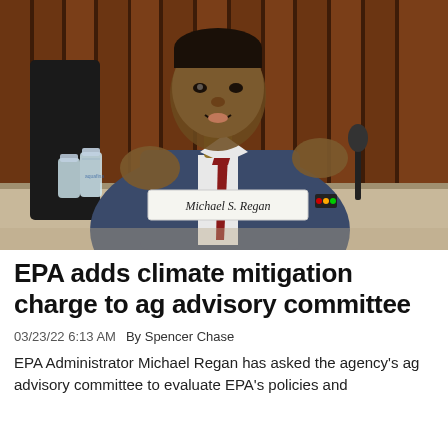[Figure (photo): EPA Administrator Michael S. Regan seated at a hearing table, wearing a blue suit and dark red tie, gesturing with both hands while speaking. A name placard reading 'Michael S. Regan' is visible, along with water bottles and a microphone. Wood-paneled background.]
EPA adds climate mitigation charge to ag advisory committee
03/23/22 6:13 AM   By Spencer Chase
EPA Administrator Michael Regan has asked the agency's ag advisory committee to evaluate EPA's policies and